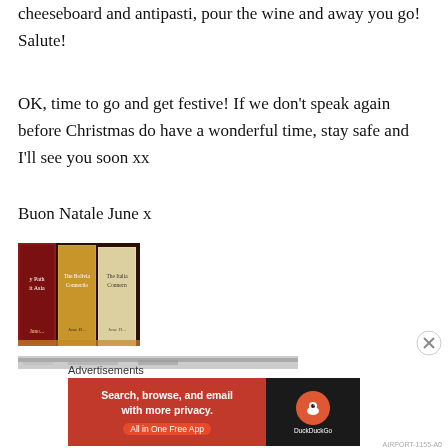cheeseboard and antipasti, pour the wine and away you go! Salute!
OK, time to go and get festive! If we don't speak again before Christmas do have a wonderful time, stay safe and I'll see you soon xx
Buon Natale June x
[Figure (photo): Three books standing upright, partially visible, with red and warm-toned covers]
[Figure (photo): Partially visible blurred banner or image strip at the bottom]
Advertisements
[Figure (screenshot): DuckDuckGo advertisement banner: 'Search, browse, and email with more privacy. All in One Free App' with DuckDuckGo logo on dark right panel]